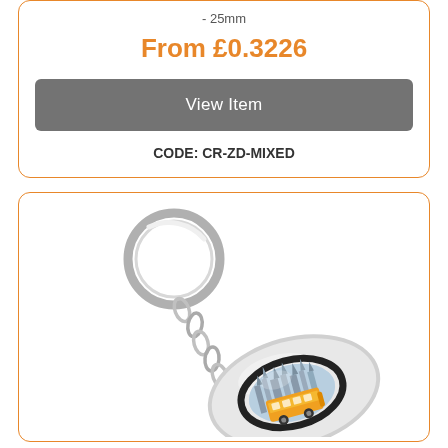- 25mm
From £0.3226
View Item
CODE: CR-ZD-MIXED
[Figure (photo): A chrome keychain with a chain and metal ring, featuring an oval-shaped fob with a domed insert showing a yellow/orange double-decker bus in front of a gothic building (likely Houses of Parliament), viewed from slightly above and to the left.]